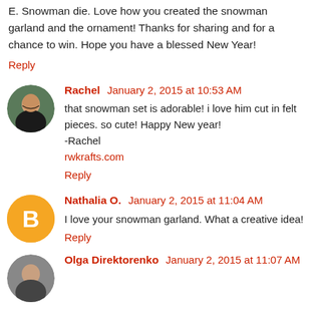E. Snowman die. Love how you created the snowman garland and the ornament! Thanks for sharing and for a chance to win. Hope you have a blessed New Year!
Reply
Rachel  January 2, 2015 at 10:53 AM
that snowman set is adorable! i love him cut in felt pieces. so cute! Happy New year!
-Rachel
rwkrafts.com
Reply
Nathalia O.  January 2, 2015 at 11:04 AM
I love your snowman garland. What a creative idea!
Reply
Olga Direktorenko  January 2, 2015 at 11:07 AM